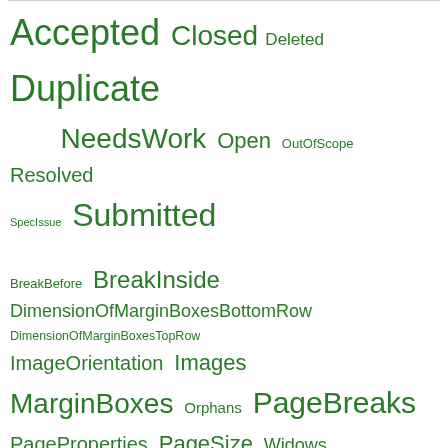[Figure (other): Tag cloud with green-colored terms of varying sizes: Accepted, Closed, Deleted, Duplicate, NeedsWork, Open, OutOfScope, Resolved, SpecIssue, Submitted, BreakBefore, BreakInside, DimensionOfMarginBoxesBottomRow, DimensionOfMarginBoxesTopRow, ImageOrientation, Images, MarginBoxes, Orphans, PageBreaks, PageProperties, PageSize, Widows]
Filtered by status=Open & group=PageProperties
Show all (remove filter/sort)
| Submission | Status | Authors | Groups | ↓ URL |
| --- | --- | --- | --- | --- |
| Nothing found |  |  |  |  |
test/css2.1/submit.txt · Last modified: 2014/12/09 15:48 (external edit)
Show pagesource   Old revisions   Log In